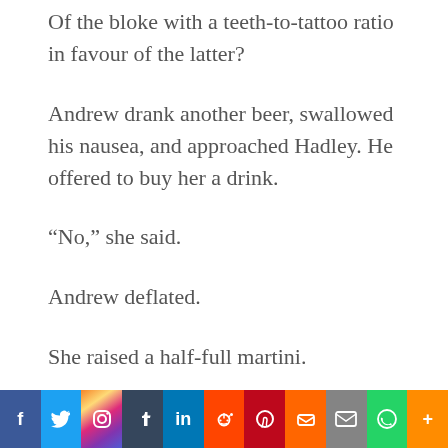Of the bloke with a teeth-to-tattoo ratio in favour of the latter?
Andrew drank another beer, swallowed his nausea, and approached Hadley. He offered to buy her a drink.
“No,” she said.
Andrew deflated.
She raised a half-full martini.
“Stirred not shaken. Shaking a martini bruises its spirit. That Bond chap had it all wrong.”
[Figure (infographic): Social media sharing bar with icons for Facebook, Twitter, Instagram, Tumblr, LinkedIn, Reddit, Pinterest, Mix, Email, WhatsApp, and More]